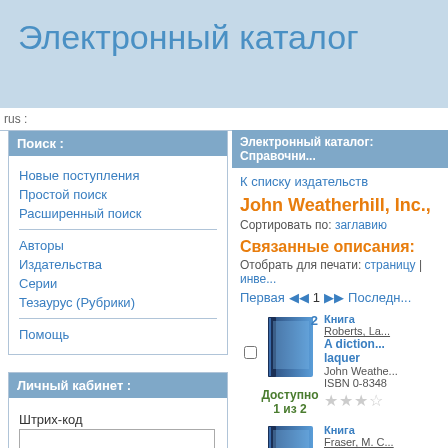Электронный каталог
rus
Поиск :
Новые поступления
Простой поиск
Расширенный поиск
Авторы
Издательства
Серии
Тезаурус (Рубрики)
Помощь
Личный кабинет :
Штрих-код
Пароль
Электронный каталог: Справочни...
К списку издательств
John Weatherhill, Inc.,
Сортировать по: заглавию
Связанные описания:
Отобрать для печати: страницу | инве...
Первая  1  Последн...
2
Книга
Roberts, La...
A diction... laquer
John Weathe...
ISBN 0-8348
Доступно 1 из 2
Книга
Fraser, M. C...
A diplom...